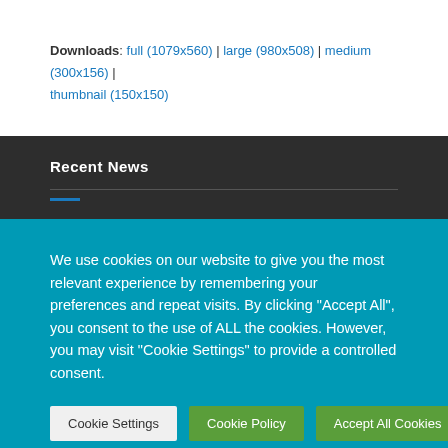Downloads: full (1079x560) | large (980x508) | medium (300x156) | thumbnail (150x150)
Recent News
We use cookies on our website to give you the most relevant experience by remembering your preferences and repeat visits. By clicking "Accept All", you consent to the use of ALL the cookies. However, you may visit "Cookie Settings" to provide a controlled consent.